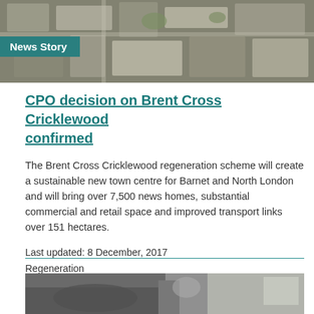[Figure (photo): Aerial view of Brent Cross Cricklewood area showing urban buildings and streets]
News Story
CPO decision on Brent Cross Cricklewood confirmed
The Brent Cross Cricklewood regeneration scheme will create a sustainable new town centre for Barnet and North London and will bring over 7,500 news homes, substantial commercial and retail space and improved transport links over 151 hectares.
Last updated: 8 December, 2017
Regeneration
[Figure (photo): Interior car view photo, partially visible]